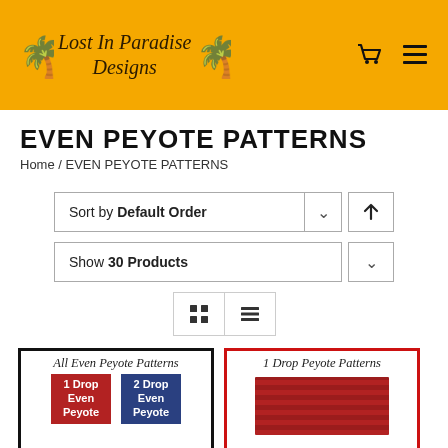Lost In Paradise Designs
EVEN PEYOTE PATTERNS
Home / EVEN PEYOTE PATTERNS
Sort by Default Order
Show 30 Products
[Figure (screenshot): Grid and list view toggle buttons]
[Figure (illustration): All Even Peyote Patterns product card showing 1 Drop Even Peyote (red tile) and 2 Drop Even Peyote (blue tile)]
[Figure (illustration): 1 Drop Peyote Patterns product card showing red beaded fabric texture]